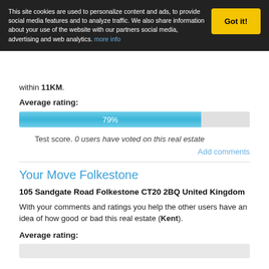This site cookies are used to personalize content and ads, to provide social media features and to analyze traffic. We also share information about your use of the website with our partners social media, advertising and web analytics. more info
within 11KM.
Average rating:
[Figure (bar-chart): Average rating]
Test score. 0 users have voted on this real estate
Add comments
Your Move Folkestone
105 Sandgate Road Folkestone CT20 2BQ United Kingdom
With your comments and ratings you help the other users have an idea of how good or bad this real estate (Kent).
Average rating: